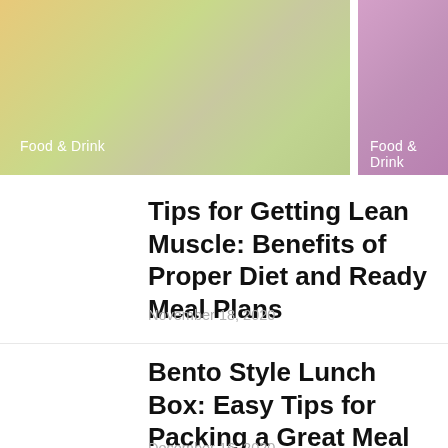[Figure (illustration): Two colored gradient banner blocks side by side at the top of the page. Left banner: yellow-green gradient. Right banner: pink-purple gradient. Both contain 'Food & Drink' label text in white.]
Food & Drink
Food & Drink
Tips for Getting Lean Muscle: Benefits of Proper Diet and Ready Meal Plans
November 18, 2020
Bento Style Lunch Box: Easy Tips for Packing a Great Meal
December 16, 2020
Wine Pairing 101: How to Match...